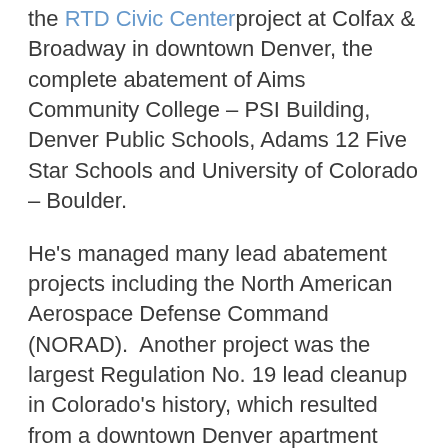the RTD Civic Center project at Colfax & Broadway in downtown Denver, the complete abatement of Aims Community College – PSI Building, Denver Public Schools, Adams 12 Five Star Schools and University of Colorado – Boulder.
He's managed many lead abatement projects including the North American Aerospace Defense Command (NORAD).  Another project was the largest Regulation No. 19 lead cleanup in Colorado's history, which resulted from a downtown Denver apartment building explosion. With 12 licensed Reg. 19 technicians, the cleanup was completed in just more than two months.
ARC Colorado provides methamphetamine lab cleanup. Our clients for this service